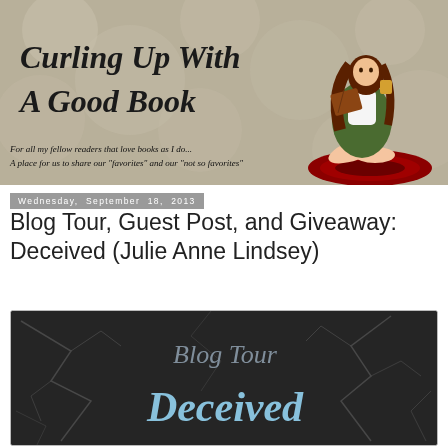[Figure (illustration): Blog header banner for 'Curling Up With A Good Book' showing a cartoon woman sitting on a red rug reading a book, with text tagline on a taupe/beige patterned background]
Wednesday, September 18, 2013
Blog Tour, Guest Post, and Giveaway: Deceived (Julie Anne Lindsey)
[Figure (illustration): Dark banner image for 'Blog Tour Deceived' with cracked branch/lightning patterns on dark background, with 'Blog Tour' in gray serif text and 'Deceived' in light blue decorative text]